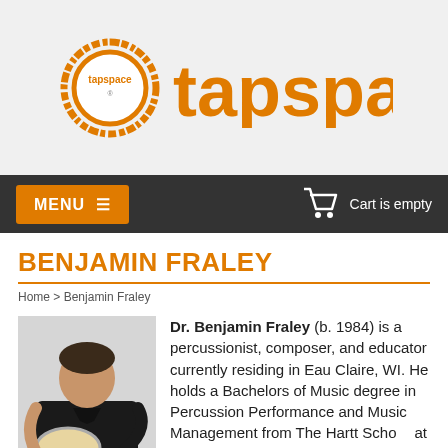[Figure (logo): Tapspace logo: orange circle with tapspace text inside, followed by large orange tapspace wordmark]
MENU  ≡    Cart is empty
BENJAMIN FRALEY
Home > Benjamin Fraley
[Figure (photo): Photo of Benjamin Fraley holding a snare drum, wearing a dark blazer]
Dr. Benjamin Fraley (b. 1984) is a percussionist, composer, and educator currently residing in Eau Claire, WI. He holds a Bachelors of Music degree in Percussion Performance and Music Management from The Hartt School at the University of Hartford, a Masters of Music degree and Artist Diploma from